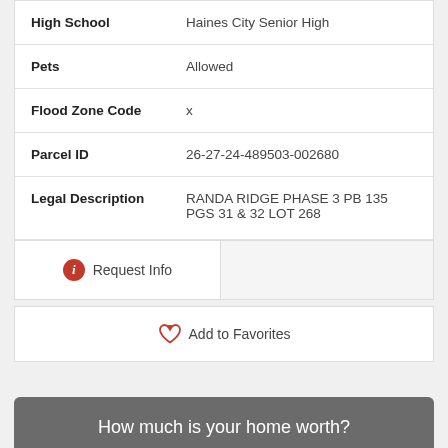| Field | Value |
| --- | --- |
| High School | Haines City Senior High |
| Pets | Allowed |
| Flood Zone Code | x |
| Parcel ID | 26-27-24-489503-002680 |
| Legal Description | RANDA RIDGE PHASE 3 PB 135 PGS 31 & 32 LOT 268 |
Request Info
Add to Favorites
How much is your home worth?